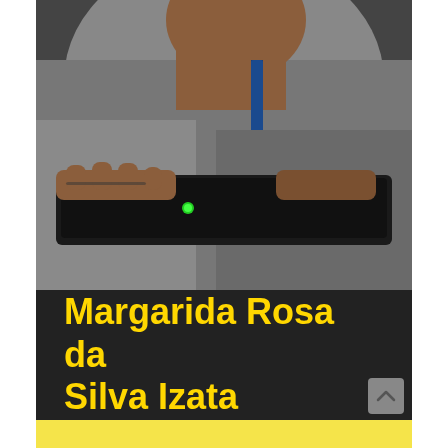[Figure (photo): Close-up photo of a person's hands and lower face near a laptop/tablet with a green indicator light, wearing grey clothing with a blue lanyard]
Margarida Rosa da Silva Izata